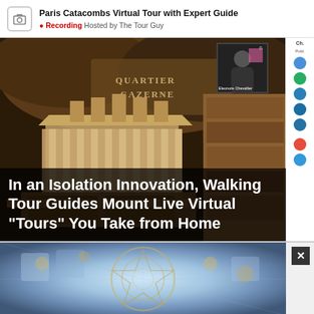Paris Catacombs Virtual Tour with Expert Guide
Recording Hosted by The Tour Guy
[Figure (screenshot): Screenshot of a virtual tour platform showing the Paris Catacombs. Main image shows stone carvings and architecture inside the catacombs with a pip video of guide Eleonore Chevallier in the upper right. Chat panel visible on far right edge.]
In an Isolation Innovation, Walking Tour Guides Mount Live Virtual "Tours" You Take from Home
[Figure (photo): Partial view of an ornate tiled ceiling or dome with blue and gold Islamic geometric patterns, with a close button (X) in the corner.]